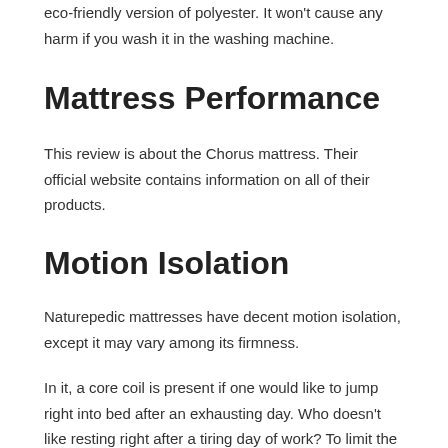eco-friendly version of polyester. It won't cause any harm if you wash it in the washing machine.
Mattress Performance
This review is about the Chorus mattress. Their official website contains information on all of their products.
Motion Isolation
Naturepedic mattresses have decent motion isolation, except it may vary among its firmness.
In it, a core coil is present if one would like to jump right into bed after an exhausting day. Who doesn't like resting right after a tiring day of work? To limit the spread, each spring is pocketed individually.
Temperature Control